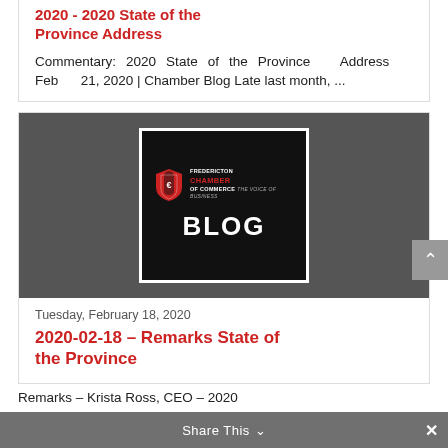2020 - 2020 State of the Province Address
Commentary: 2020 State of the Province Address Feb 21, 2020 | Chamber Blog Late last month, …
[Figure (logo): Fredericton Chamber of Commerce blog image: dark background with logo at top and large BLOG text below, set inside a white-bordered black box on a dark grey background]
Tuesday, February 18, 2020
2020-02-18 - Remarks State of the Province
Remarks – Krista Ross, CEO – 2020